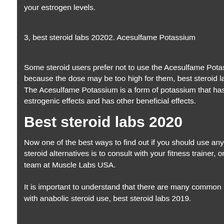your estrogen levels.
3, best steroid labs 20202. Acesulfame Potassium
Some steroid users prefer not to use the Acesulfame Potassium because the dose may be too high for them, best steroid labs 20203. The Acesulfame Potassium is a form of potassium that has anti-estrogenic effects and has other beneficial effects.
Best steroid labs 2020
Now one of the best ways to find out if you should use any of the known steroid alternatives is to consult with your fitness trainer, or ask the pro team at Muscle Labs USA.
It is important to understand that there are many common problems with anabolic steroid use, best steroid labs 2019.
[Figure (photo): Outdoor landscape photo showing a lake or river scene with mountains, trees, and a boat or dock in the foreground, with warm sunset colors.]